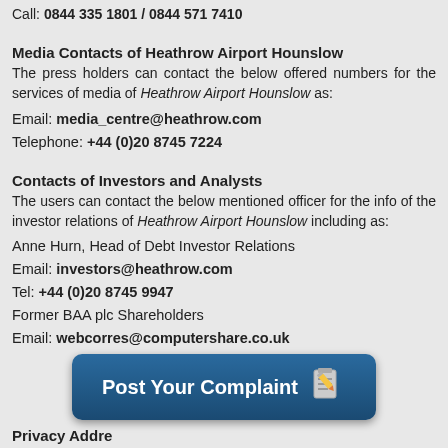Call: 0844 335 1801 / 0844 571 7410
Media Contacts of Heathrow Airport Hounslow
The press holders can contact the below offered numbers for the services of media of Heathrow Airport Hounslow as:
Email: media_centre@heathrow.com
Telephone: +44 (0)20 8745 7224
Contacts of Investors and Analysts
The users can contact the below mentioned officer for the info of the investor relations of Heathrow Airport Hounslow including as:
Anne Hurn, Head of Debt Investor Relations
Email: investors@heathrow.com
Tel: +44 (0)20 8745 9947
Former BAA plc Shareholders
Email: webcorres@computershare.co.uk
[Figure (other): Button labeled 'Post Your Complaint' with notepad and pencil icon]
Privacy Addre